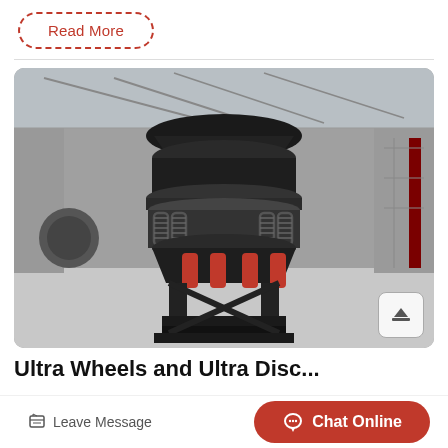Read More
[Figure (photo): Large industrial cone crusher machine (black with red hydraulic cylinders) displayed in a warehouse/factory setting. The machine has a conical upper section with spring assemblies and red hydraulic pistons, mounted on a heavy steel frame.]
Ultra Wheels and Ultra Disc...
Leave Message
Chat Online